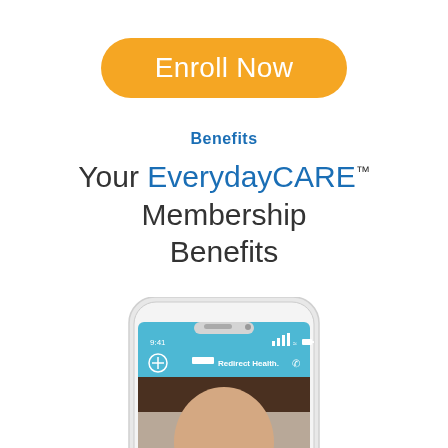Enroll Now
Benefits
Your EverydayCARE™ Membership Benefits
[Figure (photo): Smartphone showing the Redirect Health app with a telehealth video call of a woman's face on screen. The phone displays the Redirect Health logo and navigation icons on a blue header bar.]